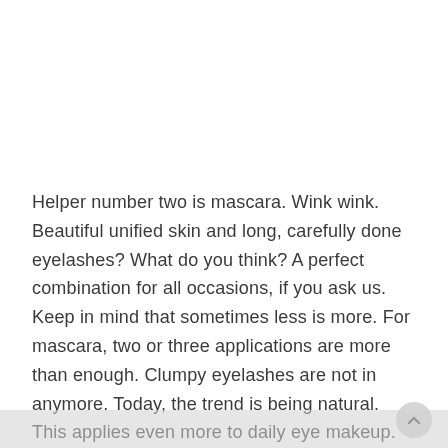Helper number two is mascara. Wink wink. Beautiful unified skin and long, carefully done eyelashes? What do you think? A perfect combination for all occasions, if you ask us. Keep in mind that sometimes less is more. For mascara, two or three applications are more than enough. Clumpy eyelashes are not in anymore. Today, the trend is being natural. This applies even more to daily eye makeup. Also take care of the mascara's hygiene. Regularly replace it – whatever you might need to know about cosmetic hygiene can be found on our blog!